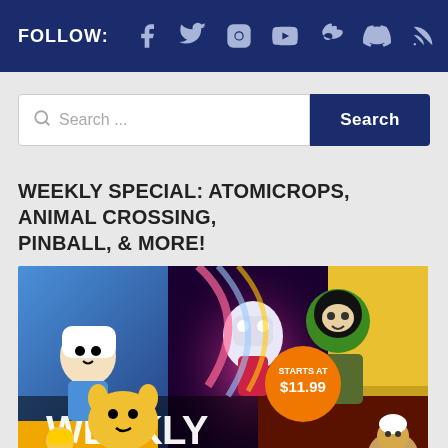FOLLOW:
Search ...
WEEKLY SPECIAL: ATOMICROPS, ANIMAL CROSSING, PINBALL, & MORE!
[Figure (illustration): Weekly Special promotional banner showing cartoon characters including Adventure Time characters (Finn and Jake), a pinball-style character, Ben 10, a hockey player, and other characters. Orange badge reads 'STARTS AT $11.99'. Large text says 'WEEKLY SPECIAL'.]